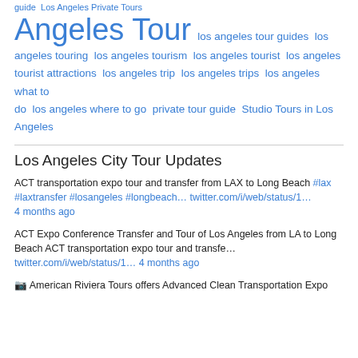guide  Los Angeles Private Tours
Angeles Tour
los angeles tour guides  los angeles touring  los angeles tourism  los angeles tourist  los angeles tourist attractions  los angeles trip  los angeles trips  los angeles what to do  los angeles where to go  private tour guide  Studio Tours in Los Angeles
Los Angeles City Tour Updates
ACT transportation expo tour and transfer from LAX to Long Beach #lax #laxtransfer #losangeles #longbeach… twitter.com/i/web/status/1… 4 months ago
ACT Expo Conference Transfer and Tour of Los Angeles from LA to Long Beach ACT transportation expo tour and transfe… twitter.com/i/web/status/1… 4 months ago
🎦 American Riviera Tours offers Advanced Clean Transportation Expo